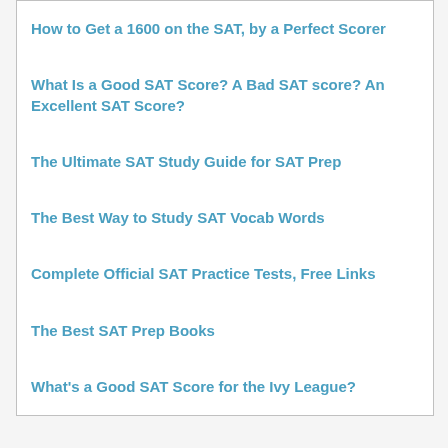How to Get a 1600 on the SAT, by a Perfect Scorer
What Is a Good SAT Score? A Bad SAT score? An Excellent SAT Score?
The Ultimate SAT Study Guide for SAT Prep
The Best Way to Study SAT Vocab Words
Complete Official SAT Practice Tests, Free Links
The Best SAT Prep Books
What's a Good SAT Score for the Ivy League?